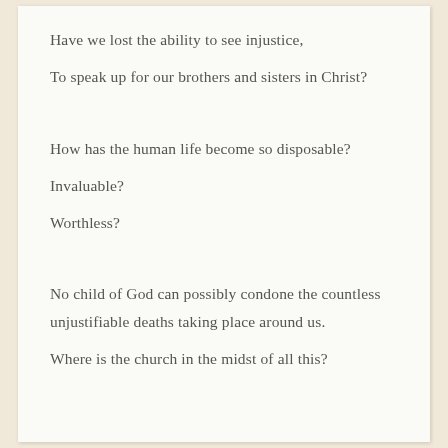Have we lost the ability to see injustice,
To speak up for our brothers and sisters in Christ?
How has the human life become so disposable?
Invaluable?
Worthless?
No child of God can possibly condone the countless unjustifiable deaths taking place around us.
Where is the church in the midst of all this?